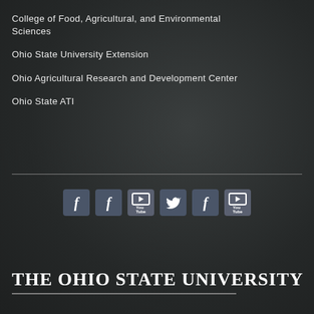College of Food, Agricultural, and Environmental Sciences
Ohio State University Extension
Ohio Agricultural Research and Development Center
Ohio State ATI
[Figure (other): Social media icon buttons: Facebook, Facebook, YouTube, Twitter, Facebook, YouTube]
[Figure (logo): The Ohio State University wordmark logo with underline, displayed in white on dark background]